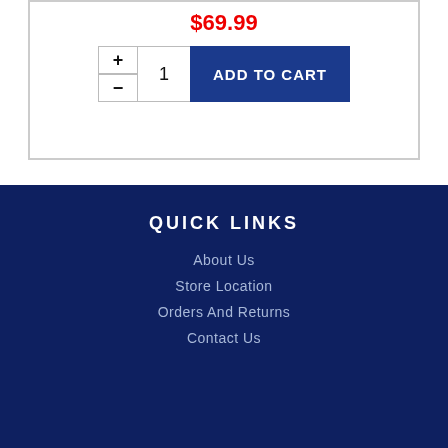$69.99
[Figure (screenshot): Add to cart widget with plus/minus quantity controls showing quantity 1 and a dark blue ADD TO CART button]
QUICK LINKS
About Us
Store Location
Orders And Returns
Contact Us